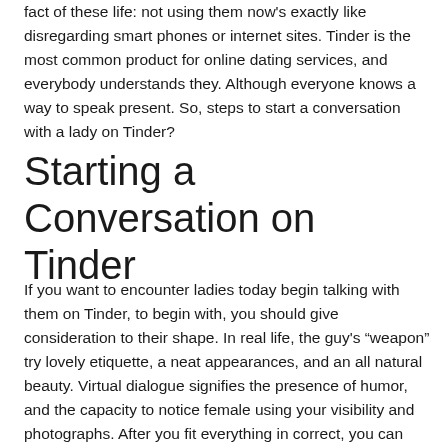fact of these life: not using them now's exactly like disregarding smart phones or internet sites. Tinder is the most common product for online dating services, and everybody understands they. Although everyone knows a way to speak present. So, steps to start a conversation with a lady on Tinder?
Starting a Conversation on Tinder
If you want to encounter ladies today begin talking with them on Tinder, to begin with, you should give consideration to their shape. In real life, the guy's “weapon” try lovely etiquette, a neat appearances, and an all natural beauty. Virtual dialogue signifies the presence of humor, and the capacity to notice female using your visibility and photographs. After you fit everything in correct, you can begin chatting with females.